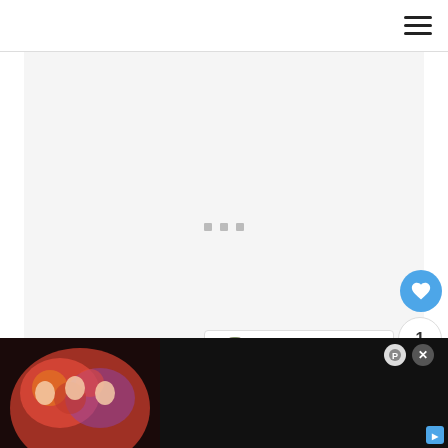Navigation bar with hamburger menu
[Figure (other): Loading placeholder image area with three gray dots centered on light gray background]
[Figure (other): WHAT'S NEXT panel showing thumbnail of flowering plant and text 'Abelia Bush Care – How ...']
As a hardy plant that originates from the Medi... ...s 2 all th... ...eed
[Figure (other): Bottom advertisement overlay showing colorful movie/show promotional image with close button]